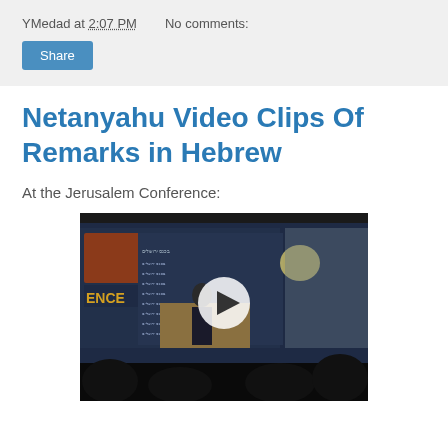YMedad at 2:07 PM    No comments:
Netanyahu Video Clips Of Remarks in Hebrew
At the Jerusalem Conference:
[Figure (screenshot): Video thumbnail showing a speaker at a podium at the Jerusalem Conference with Hebrew text on a banner backdrop. A white circular play button is overlaid in the center.]